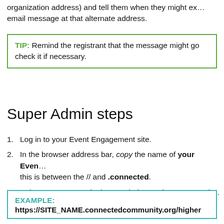organization address) and tell them when they might expect an email message at that alternate address.
TIP: Remind the registrant that the message might go to spam; check it if necessary.
Super Admin steps
1. Log in to your Event Engagement site.
2. In the browser address bar, copy the name of your Event Engagement site; this is between the // and .connected.
3. Select SITE_NAME in the URL below and paste your site name.
EXAMPLE: https://SITE_NAME.connectedcommunity.org/higher